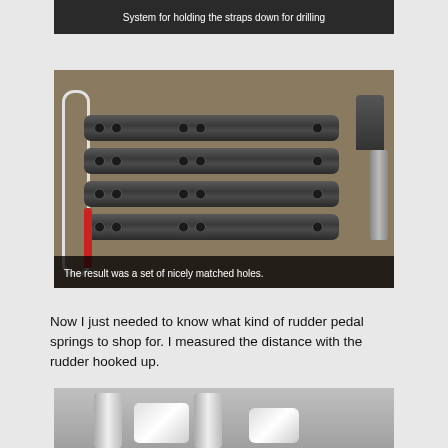[Figure (photo): System for holding straps down for drilling - dark photo with caption overlay]
System for holding the straps down for drilling
[Figure (photo): Four metal straps with drilled holes laid on a wooden surface next to a tool]
The result was a set of nicely matched holes.
Now I just needed to know what kind of rudder pedal springs to shop for. I measured the distance with the rudder hooked up.
[Figure (photo): Close-up of rudder mechanism with pipes and connected hardware]